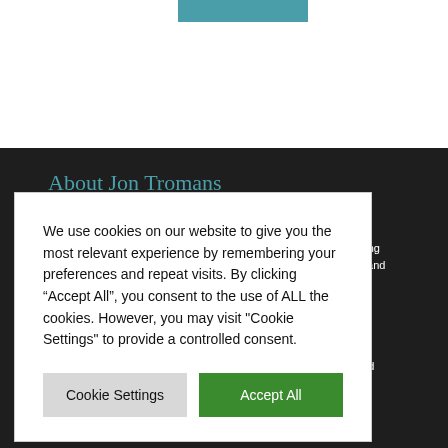[Figure (illustration): Teal/blue-green rectangular image strip at top of page]
About Jon Tromans
...rt Jon ... al marketing ... r website and
...rketing and
We use cookies on our website to give you the most relevant experience by remembering your preferences and repeat visits. By clicking “Accept All”, you consent to the use of ALL the cookies. However, you may visit "Cookie Settings" to provide a controlled consent.
Cookie Settings | Accept All
Rea...about Jo...